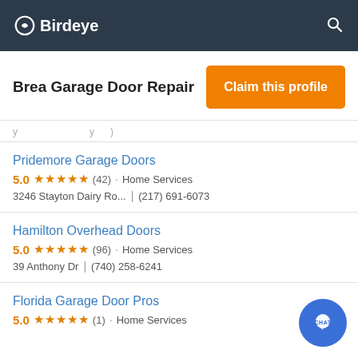Birdeye
Brea Garage Door Repair
Claim this profile
Pridemore Garage Doors
5.0 ★★★★★ (42) · Home Services
3246 Stayton Dairy Ro... | (217) 691-6073
Hamilton Overhead Doors
5.0 ★★★★★ (96) · Home Services
39 Anthony Dr | (740) 258-6241
Florida Garage Door Pros
5.0 ★★★★★ (1) · Home Services